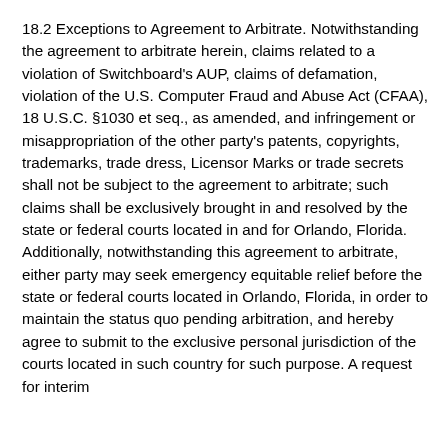18.2 Exceptions to Agreement to Arbitrate. Notwithstanding the agreement to arbitrate herein, claims related to a violation of Switchboard's AUP, claims of defamation, violation of the U.S. Computer Fraud and Abuse Act (CFAA), 18 U.S.C. §1030 et seq., as amended, and infringement or misappropriation of the other party's patents, copyrights, trademarks, trade dress, Licensor Marks or trade secrets shall not be subject to the agreement to arbitrate; such claims shall be exclusively brought in and resolved by the state or federal courts located in and for Orlando, Florida. Additionally, notwithstanding this agreement to arbitrate, either party may seek emergency equitable relief before the state or federal courts located in Orlando, Florida, in order to maintain the status quo pending arbitration, and hereby agree to submit to the exclusive personal jurisdiction of the courts located in such country for such purpose. A request for interim